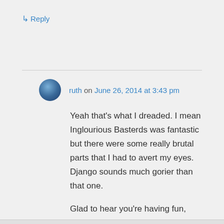↳ Reply
ruth on June 26, 2014 at 3:43 pm
Yeah that's what I dreaded. I mean Inglourious Basterds was fantastic but there were some really brutal parts that I had to avert my eyes. Django sounds much gorier than that one.

Glad to hear you're having fun, Keith!